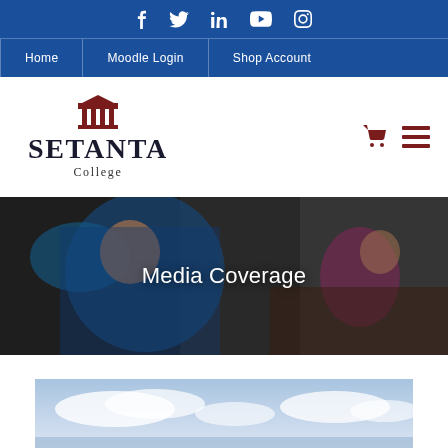Social media icons: Facebook, Twitter, LinkedIn, YouTube, Instagram
Home | Moodle Login | Shop Account
[Figure (logo): Setanta College logo with classical building icon, college name SETANTA in bold serif, and subtitle 'College']
Media Coverage
[Figure (photo): Partial view of an outdoor sky scene, cropped at bottom of page]